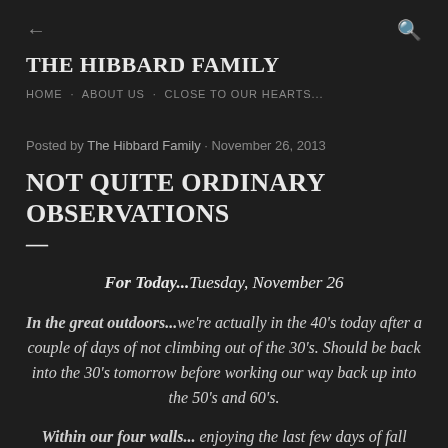← THE HIBBARD FAMILY [back arrow] [search icon]
THE HIBBARD FAMILY
HOME · ABOUT US · CLOSE TO OUR HEARTS...
Posted by The Hibbard Family · November 26, 2013
NOT QUITE ORDINARY OBSERVATIONS
—
For Today...Tuesday, November 26
In the great outdoors...we're actually in the 40's today after a couple of days of not climbing out of the 30's. Should be back into the 30's tomorrow before working our way back up into the 50's and 60's.
Within our four walls... enjoying the last few days of fall